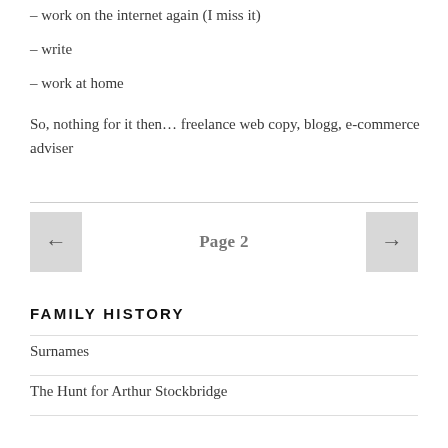– work on the internet again (I miss it)
– write
– work at home
So, nothing for it then… freelance web copy, blogg, e-commerce adviser
Page 2
FAMILY HISTORY
Surnames
The Hunt for Arthur Stockbridge